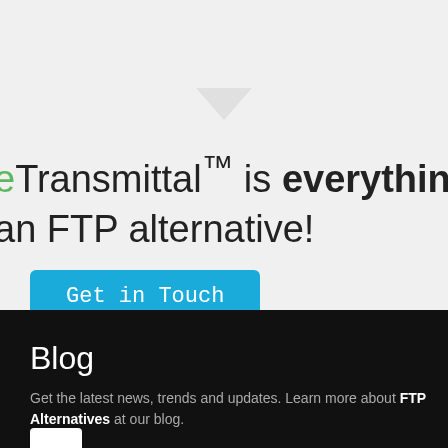eTransmittal™ is everything you need in an FTP alternative!
Sign Up!
Get in Touch
Blog
Get the latest news, trends and updates. Learn more about FTP Alternatives at our blog.
[Figure (other): White rectangular button/logo placeholder]